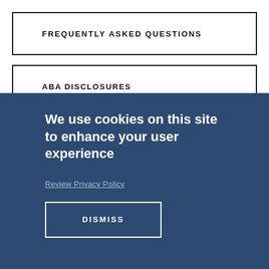FREQUENTLY ASKED QUESTIONS
ABA DISCLOSURES
We use cookies on this site to enhance your user experience
Review Privacy Policy
DISMISS